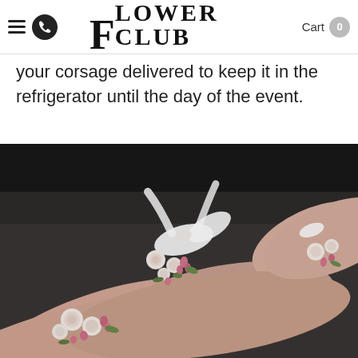FLOWER CLUB — Cart 0
your corsage delivered to keep it in the refrigerator until the day of the event.
[Figure (photo): Close-up photo of multiple wrists wearing floral wrist corsages with white ribbon ties and small roses with pink buds and greenery, against a dark background.]